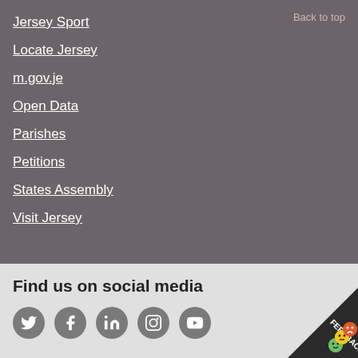Jersey Sport
Locate Jersey
m.gov.je
Open Data
Parishes
Petitions
States Assembly
Visit Jersey
Find us on social media
[Figure (infographic): Social media icons: Twitter, Facebook, LinkedIn, Instagram, YouTube in dark grey circles. Feedback badge in bottom right corner.]